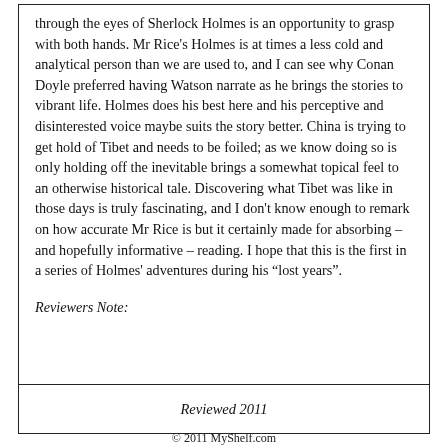through the eyes of Sherlock Holmes is an opportunity to grasp with both hands. Mr Rice's Holmes is at times a less cold and analytical person than we are used to, and I can see why Conan Doyle preferred having Watson narrate as he brings the stories to vibrant life. Holmes does his best here and his perceptive and disinterested voice maybe suits the story better. China is trying to get hold of Tibet and needs to be foiled; as we know doing so is only holding off the inevitable brings a somewhat topical feel to an otherwise historical tale. Discovering what Tibet was like in those days is truly fascinating, and I don't know enough to remark on how accurate Mr Rice is but it certainly made for absorbing – and hopefully informative – reading. I hope that this is the first in a series of Holmes' adventures during his “lost years”.
Reviewers Note:
Reviewed 2011
© 2011 MyShelf.com